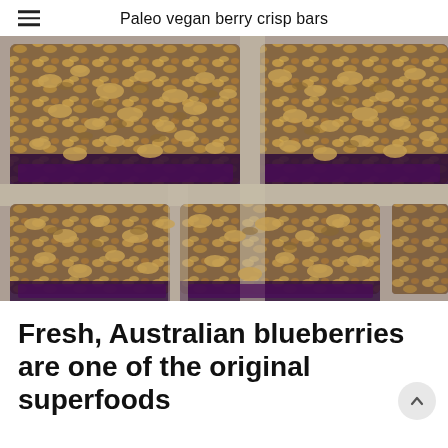Paleo vegan berry crisp bars
[Figure (photo): Overhead close-up photo of paleo vegan berry crisp bars on parchment paper, showing golden oat crumble topping over dark purple berry filling, cut into squares]
Fresh, Australian blueberries are one of the original superfoods